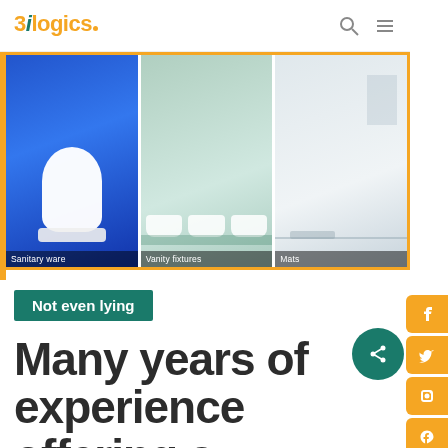3ilogics
[Figure (photo): Three bathroom product category images: Sanitary ware (toilet on blue background), Vanity fixtures (sinks on green background), Mats (room interior on gray background)]
Not even lying
Many years of experience offering a complete turn-